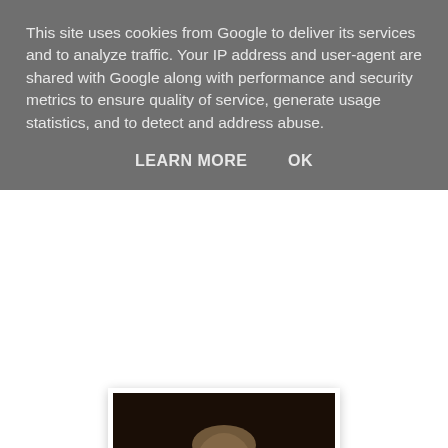This site uses cookies from Google to deliver its services and to analyze traffic. Your IP address and user-agent are shared with Google along with performance and security metrics to ensure quality of service, generate usage statistics, and to detect and address abuse.
LEARN MORE    OK
[Figure (photo): Portrait painting of William Wilberforce, a man in dark period clothing, holding a quill pen, with a green draped cloth and red fabric visible in the background.]
Wilberforce House is the birthplace of William Wilberforce, famous campaigner against the slave trade. Admission to Wilberforce House is free. The museum tells the story of the transatlantic slave trade and its abolition, as well as dealing with contemporary slavery. Galleries also offer a fascinating glimpse into West African culture. The permanent displays at Wilberforce House include journals and items that belonged to William Wilberforce, including his personal correspondence. The